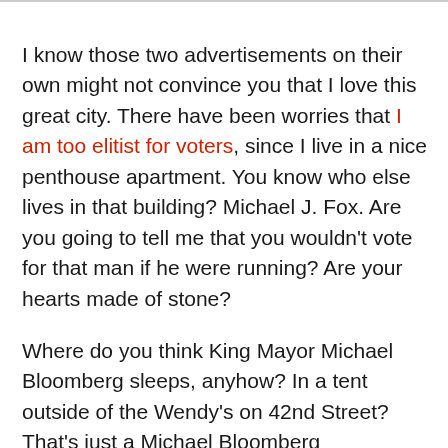I know those two advertisements on their own might not convince you that I love this great city. There have been worries that I am too elitist for voters, since I live in a nice penthouse apartment. You know who else lives in that building? Michael J. Fox. Are you going to tell me that you wouldn't vote for that man if he were running? Are your hearts made of stone?
Where do you think King Mayor Michael Bloomberg sleeps, anyhow? In a tent outside of the Wendy's on 42nd Street? That's just a Michael Bloomberg impersonator; don't be fooled. These are the things you get to know as a native New Yorker.